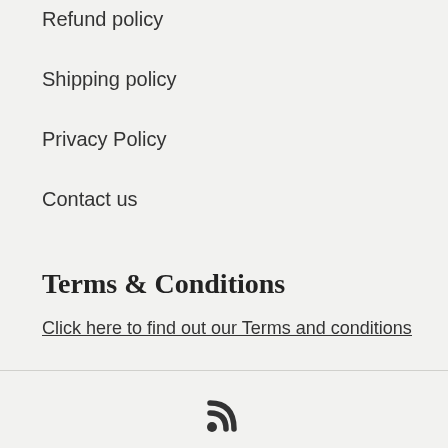Refund policy
Shipping policy
Privacy Policy
Contact us
Terms & Conditions
Click here to find out our Terms and conditions
[Figure (other): RSS feed icon]